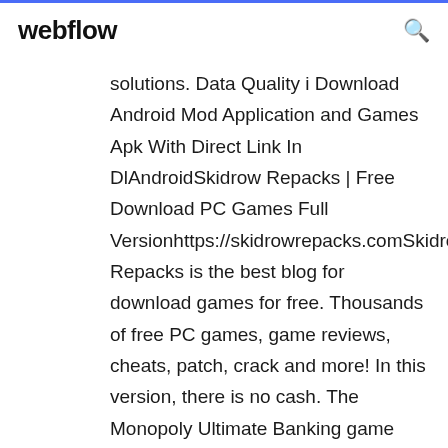webflow
solutions. Data Quality i Download Android Mod Application and Games Apk With Direct Link In DlAndroidSkidrow Repacks | Free Download PC Games Full Versionhttps://skidrowrepacks.comSkidrow Repacks is the best blog for download games for free. Thousands of free PC games, game reviews, cheats, patch, crack and more! In this version, there is no cash. The Monopoly Ultimate Banking game features an electronic ultimate banking piece with touch technology. PLAY NOW https://games.lol/wp-cont...tier-sniper-free-full-version.jpg https://game...tier-sniper-download-free-pc-gam...gameslol.png flippedDownload Free Contrast PC Game | Free